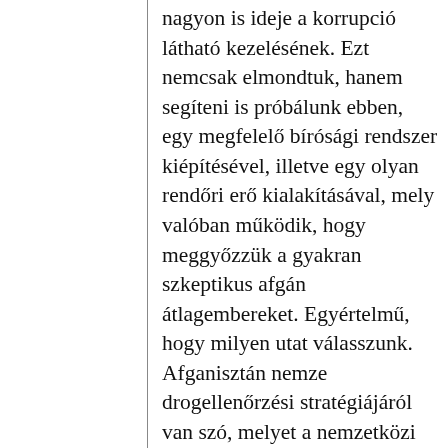nagyon is ideje a korrupció látható kezelésének. Ezt nemcsak elmondtuk, hanem segíteni is próbálunk ebben, egy megfelelő bírósági rendszer kiépítésével, illetve egy olyan rendőri erő kialakításával, mely valóban működik, hogy meggyőzzük a gyakran szkeptikus afgán átlagembereket. Egyértelmű, hogy milyen utat válasszunk. Afganisztán nemze drogellenőrzési stratégiájáról van szó, melyet a nemzetközi közösség is támogatott, és mely minden lényeges elemet tartalmaz. Valóban megérdemli egyhangú támogatásunkat, mivel olyan átfogó stratégia, melynek része a tilalom, a nyilvános tájékoztatás, az ismert drogkereskedők vád alá helyezése és a helyi fejlődés támogatása. Amennyiben ilyen gondos szakpolitikai keveréket használnak, a gazdálkodók máris felle...